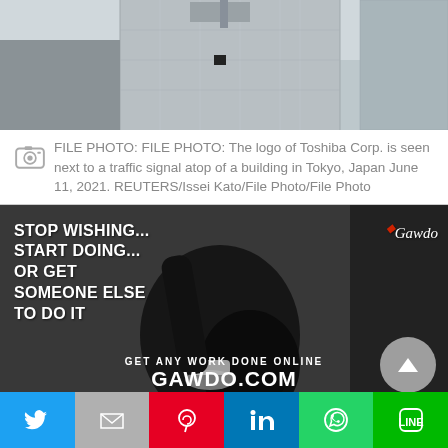[Figure (photo): Partial view of a building with antenna/signal tower on the rooftop against a grey sky, Tokyo Japan.]
FILE PHOTO: FILE PHOTO: The logo of Toshiba Corp. is seen next to a traffic signal atop of a building in Tokyo, Japan June 11, 2021. REUTERS/Issei Kato/File Photo/File Photo
[Figure (photo): Advertisement image for Gawdo.com showing a black and white photo of someone working, with text: STOP WISHING... START DOING... OR GET SOMEONE ELSE TO DO IT. GET ANY WORK DONE ONLINE GAWDO.COM. EXPLORE POSSIBILITIES.]
[Figure (infographic): Social sharing bar with buttons for Twitter, Gmail/email, Pinterest, LinkedIn, WhatsApp, and LINE.]